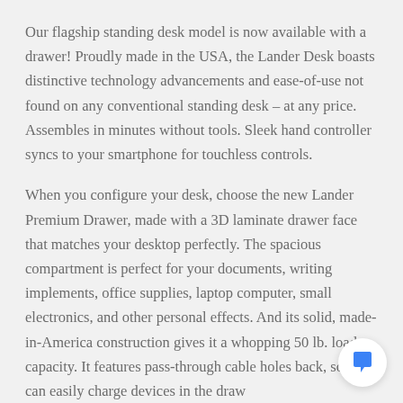Our flagship standing desk model is now available with a drawer! Proudly made in the USA, the Lander Desk boasts distinctive technology advancements and ease-of-use not found on any conventional standing desk – at any price. Assembles in minutes without tools. Sleek hand controller syncs to your smartphone for touchless controls.
When you configure your desk, choose the new Lander Premium Drawer, made with a 3D laminate drawer face that matches your desktop perfectly. The spacious compartment is perfect for your documents, writing implements, office supplies, laptop computer, small electronics, and other personal effects. And its solid, made-in-America construction gives it a whopping 50 lb. load capacity. It features pass-through cable holes back, so you can easily charge devices in the draw...
[Figure (other): Chat bubble icon in bottom-right corner — white circular button with a speech bubble icon]